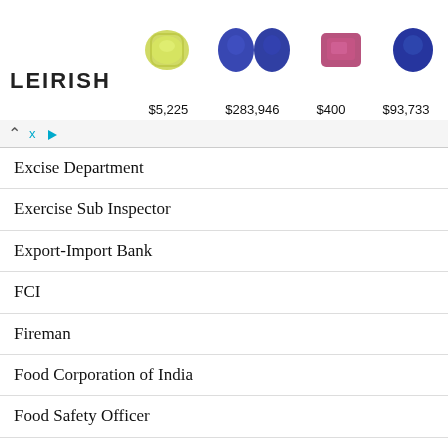[Figure (photo): Advertisement banner with gemstone images (yellow cushion cut, blue oval pair, red/pink rectangular, blue oval single) and prices: $5,225, $283,946, $400, $93,733. Includes LEIRISH logo and navigation controls.]
Excise Department
Exercise Sub Inspector
Export-Import Bank
FCI
Fireman
Food Corporation of India
Food Safety Officer
Forest Department
Forest Guard
Forest Range Officer
forester